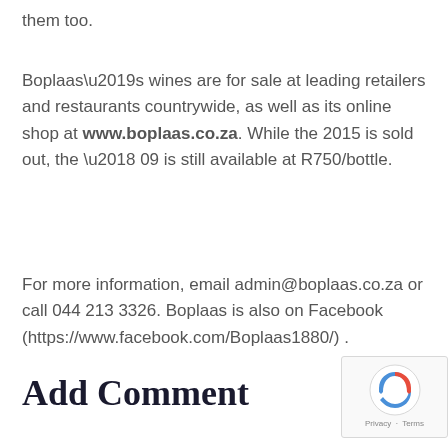them too.
Boplaas’s wines are for sale at leading retailers and restaurants countrywide, as well as its online shop at www.boplaas.co.za. While the 2015 is sold out, the ’09 is still available at R750/bottle.
For more information, email admin@boplaas.co.za or call 044 213 3326. Boplaas is also on Facebook (https://www.facebook.com/Boplaas1880/) .
Add Comment